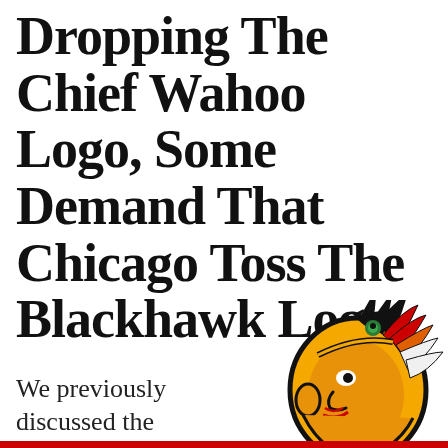Dropping The Chief Wahoo Logo, Some Demand That Chicago Toss The Blackhawk Logo
We previously discussed the
[Figure (logo): Chicago Blackhawks NHL team logo — a Native American face in profile with feathered headdress in black, yellow, red, orange, and green colors]